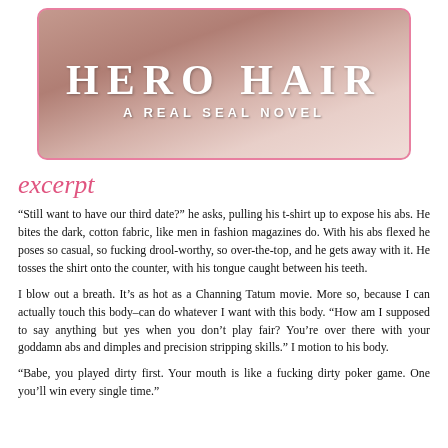[Figure (illustration): Book cover for 'Hero Hair: A Real Seal Novel' showing a close-up of a shirtless male torso with white fabric, pink rounded border, text overlay with title HERO HAIR and subtitle A REAL SEAL NOVEL]
excerpt
“Still want to have our third date?” he asks, pulling his t-shirt up to expose his abs. He bites the dark, cotton fabric, like men in fashion magazines do. With his abs flexed he poses so casual, so fucking drool-worthy, so over-the-top, and he gets away with it. He tosses the shirt onto the counter, with his tongue caught between his teeth.
I blow out a breath. It’s as hot as a Channing Tatum movie. More so, because I can actually touch this body–can do whatever I want with this body. “How am I supposed to say anything but yes when you don’t play fair? You’re over there with your goddamn abs and dimples and precision stripping skills.” I motion to his body.
“Babe, you played dirty first. Your mouth is like a fucking dirty poker game. One you’ll win every single time.”